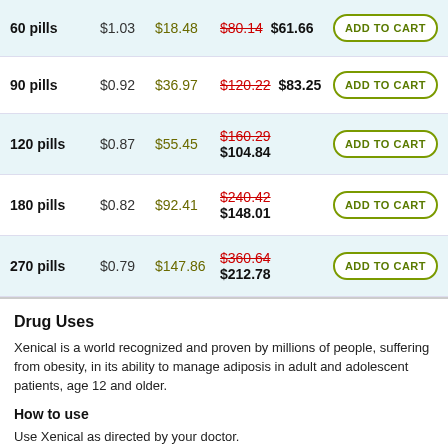| Pills | Per Pill | Bonus | Price | Action |
| --- | --- | --- | --- | --- |
| 60 pills | $1.03 | $18.48 | $80.14 $61.66 | ADD TO CART |
| 90 pills | $0.92 | $36.97 | $120.22 $83.25 | ADD TO CART |
| 120 pills | $0.87 | $55.45 | $160.29 $104.84 | ADD TO CART |
| 180 pills | $0.82 | $92.41 | $240.42 $148.01 | ADD TO CART |
| 270 pills | $0.79 | $147.86 | $360.64 $212.78 | ADD TO CART |
Drug Uses
Xenical is a world recognized and proven by millions of people, suffering from obesity, in its ability to manage adiposis in adult and adolescent patients, age 12 and older.
How to use
Use Xenical as directed by your doctor.
Read the doctor or the medicine package. You may consider starting...